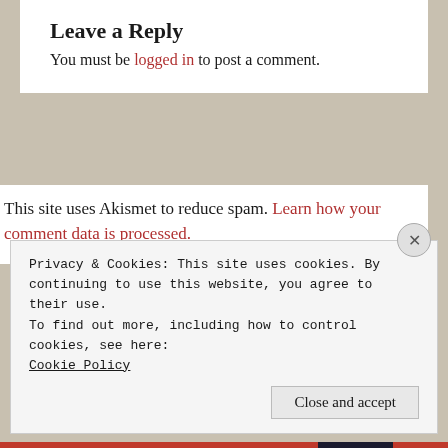Leave a Reply
You must be logged in to post a comment.
This site uses Akismet to reduce spam. Learn how your comment data is processed.
[Figure (screenshot): Search box with placeholder text 'Search...' and a magnifying glass icon on the right]
Privacy & Cookies: This site uses cookies. By continuing to use this website, you agree to their use.
To find out more, including how to control cookies, see here: Cookie Policy
Close and accept